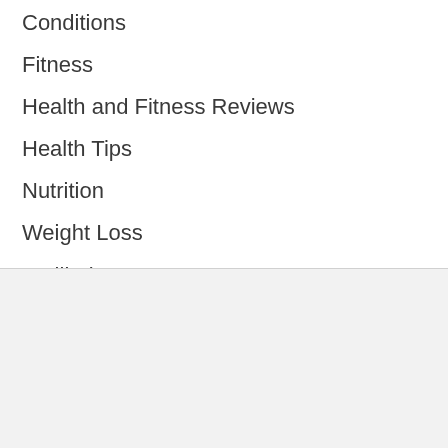Conditions
Fitness
Health and Fitness Reviews
Health Tips
Nutrition
Weight Loss
Wellbeing